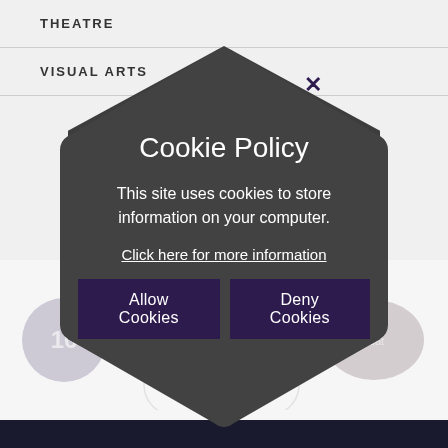THEATRE
VISUAL ARTS
Cookie Policy
This site uses cookies to store information on your computer.
Click here for more information
Allow Cookies
Deny Cookies